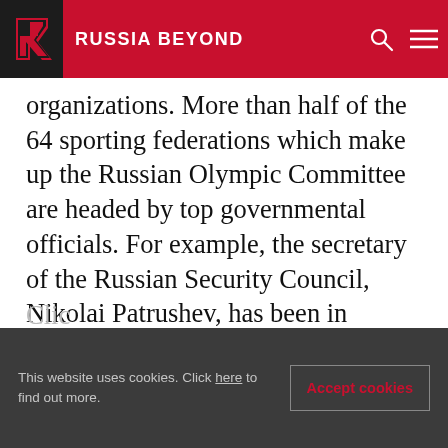RUSSIA BEYOND
organizations. More than half of the 64 sporting federations which make up the Russian Olympic Committee are headed by top governmental officials. For example, the secretary of the Russian Security Council, Nikolai Patrushev, has been in charge of the volleyball federation since 2004, while Minister of Transport Igor Levitin became head of the table tennis federation in May 2006. Government involvement can be regarded as a means to ensure that the development and maintenance of a high standard in sport is of great national and social concern.
This website uses cookies. Click here to find out more. Accept cookies